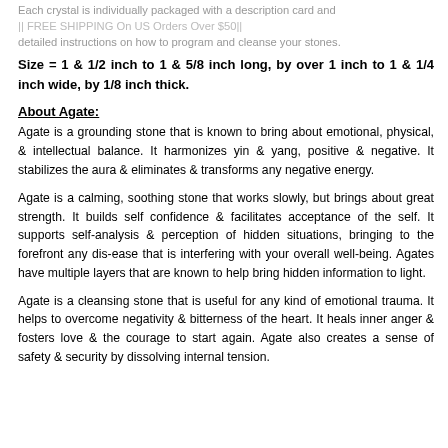Each crystal is individually packaged with a description card and detailed instructions on how to program and cleanse your stones.
Size = 1 & 1/2 inch to 1 & 5/8 inch long, by over 1 inch to 1 & 1/4 inch wide, by 1/8 inch thick.
About Agate:
Agate is a grounding stone that is known to bring about emotional, physical, & intellectual balance. It harmonizes yin & yang, positive & negative. It stabilizes the aura & eliminates & transforms any negative energy.
Agate is a calming, soothing stone that works slowly, but brings about great strength. It builds self confidence & facilitates acceptance of the self. It supports self-analysis & perception of hidden situations, bringing to the forefront any dis-ease that is interfering with your overall well-being. Agates have multiple layers that are known to help bring hidden information to light.
Agate is a cleansing stone that is useful for any kind of emotional trauma. It helps to overcome negativity & bitterness of the heart. It heals inner anger & fosters love & the courage to start again. Agate also creates a sense of safety & security by dissolving internal tension.